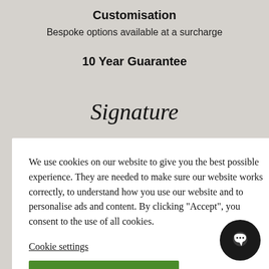Customisation
Bespoke options available at a surcharge
10 Year Guarantee
Signature
s unrivalled
virtually
d completely
ack
Chunky legs
We use cookies on our website to give you the best possible experience. They are needed to make sure our website works correctly, to understand how you use our website and to personalise ads and content. By clicking “Accept”, you consent to the use of all cookies.
Cookie settings
ACCEPT